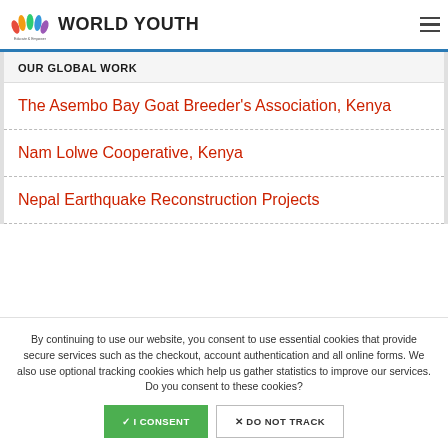WORLD YOUTH
OUR GLOBAL WORK
The Asembo Bay Goat Breeder's Association, Kenya
Nam Lolwe Cooperative, Kenya
Nepal Earthquake Reconstruction Projects
By continuing to use our website, you consent to use essential cookies that provide secure services such as the checkout, account authentication and all online forms. We also use optional tracking cookies which help us gather statistics to improve our services. Do you consent to these cookies?